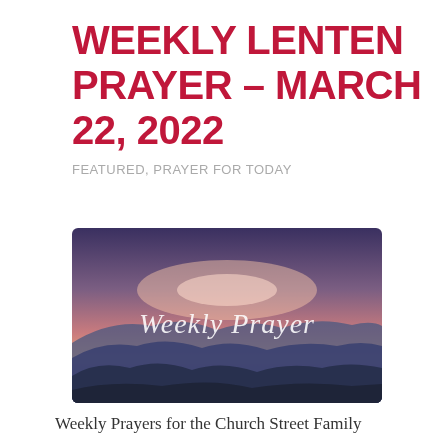WEEKLY LENTEN PRAYER – MARCH 22, 2022
FEATURED, PRAYER FOR TODAY
[Figure (illustration): Mountain silhouette landscape at sunset with pink and purple sky and script text reading 'Weekly Prayer']
Weekly Prayers for the Church Street Family
Week of March 22, 2022